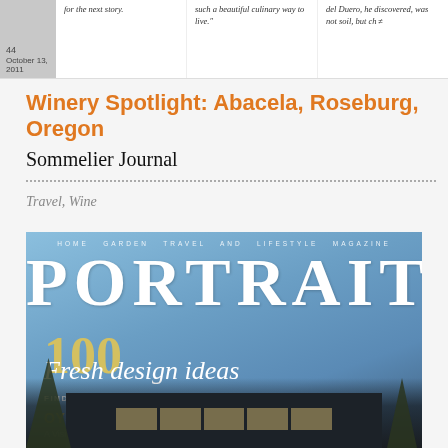[Figure (screenshot): Top strip showing magazine article thumbnails with small cover image on left, text columns with article snippets, and date October 13, 2011]
Winery Spotlight: Abacela, Roseburg, Oregon
Sommelier Journal
Travel, Wine
[Figure (photo): Cover of Portrait magazine - Home Garden Travel and Lifestyle Magazine. Features '100 Fresh design ideas - Find Your Perfect Look', 'Oysters: A Love Story - A Visit to Taylor Shellfish Farms + Local Recipes'. Background shows modern building at night with blue sky.]